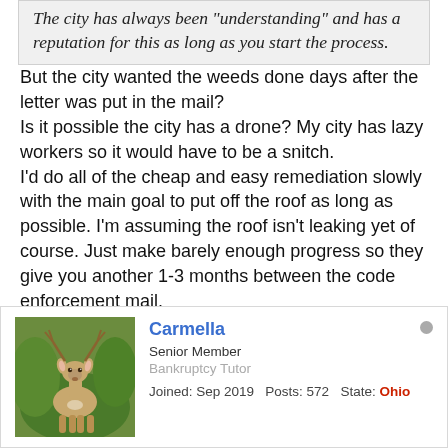The city has always been "understanding" and has a reputation for this as long as you start the process.
But the city wanted the weeds done days after the letter was put in the mail?
Is it possible the city has a drone? My city has lazy workers so it would have to be a snitch.
I'd do all of the cheap and easy remediation slowly with the main goal to put off the roof as long as possible. I'm assuming the roof isn't leaking yet of course. Just make barely enough progress so they give you another 1-3 months between the code enforcement mail.
Carmella
Senior Member
Bankruptcy Tutor
Joined: Sep 2019  Posts: 572  State: Ohio